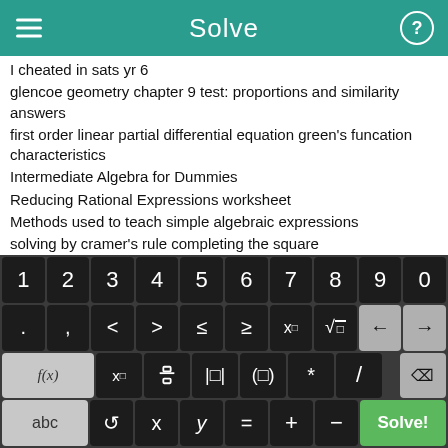Solve
I cheated in sats yr 6
glencoe geometry chapter 9 test: proportions and similarity answers
first order linear partial differential equation green's funcation characteristics
Intermediate Algebra for Dummies
Reducing Rational Expressions worksheet
Methods used to teach simple algebraic expressions
solving by cramer's rule completing the square
add and subtract fractions worksheets
[Figure (screenshot): Math keyboard with number row (1-0), symbol row (. , < > ≤ ≥ x□ √ ← →), function row (f(x) x□ fraction absolute-value parentheses * / backspace), and bottom row (abc ↺ x y = + - Solve!)]